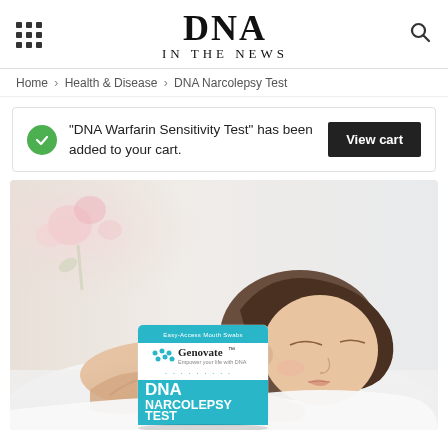DNA IN THE NEWS
Home › Health & Disease › DNA Narcolepsy Test
"DNA Warfarin Sensitivity Test" has been added to your cart.
[Figure (photo): Woman sleeping on white pillow with a Genovate DNA Narcolepsy Test product box in the foreground, pink flowers blurred in background]